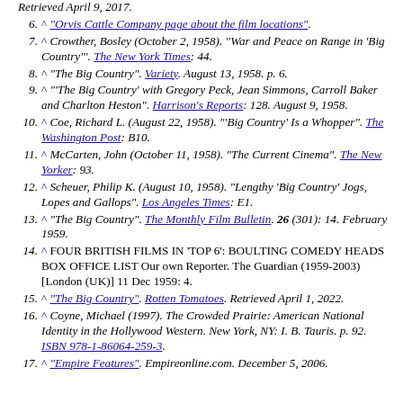Retrieved April 9, 2017.
6. ^ "Orvis Cattle Company page about the film locations".
7. ^ Crowther, Bosley (October 2, 1958). "War and Peace on Range in 'Big Country'". The New York Times: 44.
8. ^ "The Big Country". Variety. August 13, 1958. p. 6.
9. ^ "'The Big Country' with Gregory Peck, Jean Simmons, Carroll Baker and Charlton Heston". Harrison's Reports: 128. August 9, 1958.
10. ^ Coe, Richard L. (August 22, 1958). "'Big Country' Is a Whopper". The Washington Post: B10.
11. ^ McCarten, John (October 11, 1958). "The Current Cinema". The New Yorker: 93.
12. ^ Scheuer, Philip K. (August 10, 1958). "Lengthy 'Big Country' Jogs, Lopes and Gallops". Los Angeles Times: E1.
13. ^ "The Big Country". The Monthly Film Bulletin. 26 (301): 14. February 1959.
14. ^ FOUR BRITISH FILMS IN 'TOP 6': BOULTING COMEDY HEADS BOX OFFICE LIST Our own Reporter. The Guardian (1959-2003) [London (UK)] 11 Dec 1959: 4.
15. ^ "The Big Country". Rotten Tomatoes. Retrieved April 1, 2022.
16. ^ Coyne, Michael (1997). The Crowded Prairie: American National Identity in the Hollywood Western. New York, NY: I. B. Tauris. p. 92. ISBN 978-1-86064-259-3.
17. ^ "Empire Features". Empireonline.com. December 5, 2006.